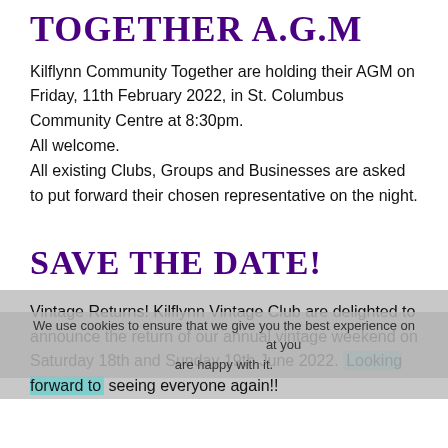TOGETHER A.G.M
Kilflynn Community Together are holding their AGM on Friday, 11th February 2022, in St. Columbus Community Centre at 8:30pm. All welcome. All existing Clubs, Groups and Businesses are asked to put forward their chosen representative on the night.
SAVE THE DATE!
Vintage Returns! Kilflynn Vintage Club are delighted to announce the return of our annual vintage weekend on Saturday 18th and Sunday 19th June 2022. Looking forward to seeing everyone again!!